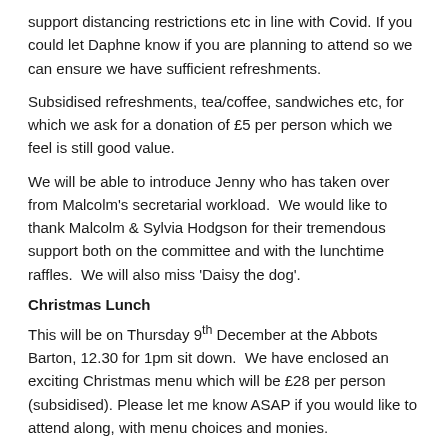support distancing restrictions etc in line with Covid. If you could let Daphne know if you are planning to attend so we can ensure we have sufficient refreshments.
Subsidised refreshments, tea/coffee, sandwiches etc, for which we ask for a donation of £5 per person which we feel is still good value.
We will be able to introduce Jenny who has taken over from Malcolm's secretarial workload.  We would like to thank Malcolm & Sylvia Hodgson for their tremendous support both on the committee and with the lunchtime raffles.  We will also miss 'Daisy the dog'.
Christmas Lunch
This will be on Thursday 9th December at the Abbots Barton, 12.30 for 1pm sit down.  We have enclosed an exciting Christmas menu which will be £28 per person (subsidised). Please let me know ASAP if you would like to attend along, with menu choices and monies.
There will be the usual drinks on the table, but feel free to purchase other drinks at the bar.  Raffle prizes gratefully accepted, please bring them on the day.